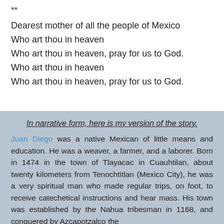**
Dearest mother of all the people of Mexico
Who art thou in heaven
Who art thou in heaven, pray for us to God.
Who art thou in heaven
Who art thou in heaven, pray for us to God.
In narrative form, here is my version of the story.
Juan Diego was a native Mexican of little means and education. He was a weaver, a farmer, and a laborer. Born in 1474 in the town of Tlayacac in Cuauhtilan, about twenty kilometers from Tenochtitlan (Mexico City), he was a very spiritual man who made regular trips, on foot, to receive catechetical instructions and hear mass. His town was established by the Nahua tribesman in 1168, and conquered by Azcapotzalco the